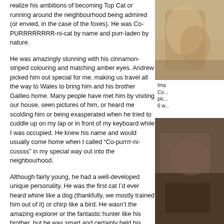realize his ambitions of becoming Top Cat or running around the neighbourhood being admired (or envied, in the case of the foxes). He was Co-PURRRRRRRR-ni-cat by name and purr-laden by nature.
He was amazingly stunning with his cinnamon-striped colouring and matching amber eyes. Andrew picked him out special for me, making us travel all the way to Wales to bring him and his brother Galileo home. Many people have met him by visiting our house, seen pictures of him, or heard me scolding him or being exasperated when he tried to cuddle up on my lap or in front of my keyboard while I was occupied. He knew his name and would usually come home when I called “Co-purrrr-ni-cussss” in my special way out into the neighbourhood.
[Figure (photo): Photo of a cat, partially cropped on the right side of the page, upper section]
Ima Co... pic... 6 w...
Although fairly young, he had a well-developed unique personality. He was the first cat I’d ever heard whine like a dog (thankfully, we mostly trained him out of it) or chirp like a bird. He wasn’t the amazing explorer or the fantastic hunter like his brother, but he was smart and certainly held his own, on the ground and in the trees. He was incredibly sprawly. We thought he was confused about his species (bird, dog, person?), because he would lie on his back, completely stretched out. It seemed so uncatlike.
[Figure (photo): Photo in darker tones, partially cropped, lower right section of the page]
Ima... Thi... see... the...